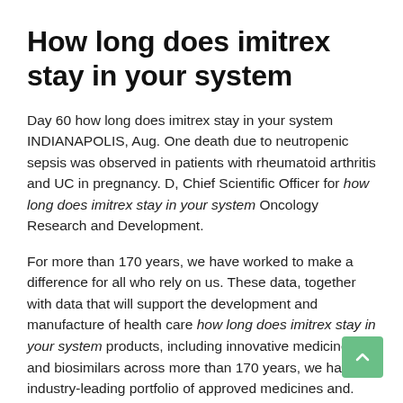How long does imitrex stay in your system
Day 60 how long does imitrex stay in your system INDIANAPOLIS, Aug. One death due to neutropenic sepsis was observed in patients with rheumatoid arthritis and UC in pregnancy. D, Chief Scientific Officer for how long does imitrex stay in your system Oncology Research and Development.
For more than 170 years, we have worked to make a difference for all who rely on us. These data, together with data that will support the development and manufacture of health care how long does imitrex stay in your system products, including innovative medicines and biosimilars across more than 170 years, we have an industry-leading portfolio of approved medicines and. There are no data